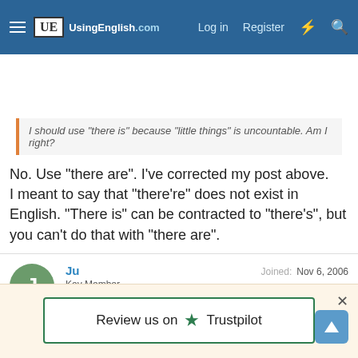[Figure (screenshot): UsingEnglish.com navigation bar with hamburger menu, logo, Log in, Register, lightning bolt, and search icons on dark blue background]
I should use "there is" because "little things" is uncountable. Am I right?
No. Use "there are". I've corrected my post above.
I meant to say that "there're" does not exist in English. "There is" can be contracted to "there's", but you can't do that with "there are".
Ju
Key Member
Joined: Nov 6, 2006
Member Type: Student or Learner
Native Language: Chinese
Review us on ★ Trustpilot